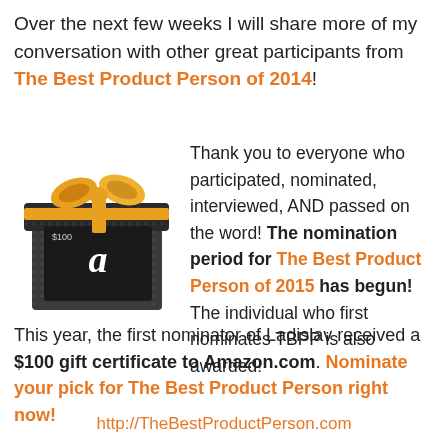Over the next few weeks I will share more of my conversation with other great participants from The Best Product Person of 2014!
[Figure (photo): Amazon gift card in a black gift box with gold ribbon bow]
Thank you to everyone who participated, nominated, interviewed, AND passed on the word! The nomination period for The Best Product Person of 2015 has begun! The individual who first nominates TBPP is also awarded! This year, the first nominator of Ladislav received a $100 gift certificate to Amazon.com. Nominate your pick for The Best Product Person right now!
http://TheBestProductPerson.com